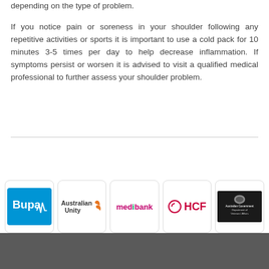depending on the type of problem.

If you notice pain or soreness in your shoulder following any repetitive activities or sports it is important to use a cold pack for 10 minutes 3-5 times per day to help decrease inflammation. If symptoms persist or worsen it is advised to visit a qualified medical professional to further assess your shoulder problem.
[Figure (logo): Bupa logo - white text on blue background with heartbeat line]
[Figure (logo): Australian Unity logo with orange bird/wing symbol]
[Figure (logo): medibank logo in pink/magenta text]
[Figure (logo): HCF logo in red with circular icon]
[Figure (logo): Australian Government Department of Veterans Affairs logo on dark background]